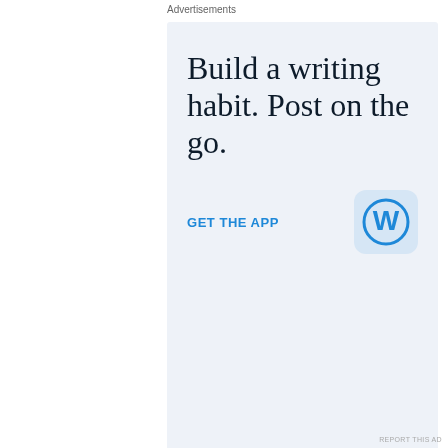Advertisements
[Figure (infographic): WordPress advertisement banner with light blue background. Large serif text reads 'Build a writing habit. Post on the go.' with a 'GET THE APP' call-to-action link in blue and a WordPress 'W' app icon in a rounded square.]
REPORT THIS AD
Remember, eggplant like warm soil.  Take them from warm, moist soil and stick them in cold dirt and they get shocky – I know. I tried.  All my eggplant were stunted and
Advertisements
REPORT THIS AD